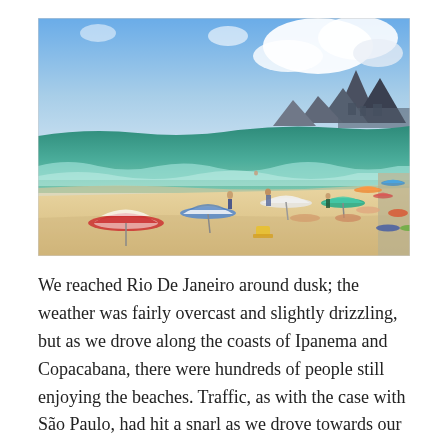[Figure (photo): Aerial view of Ipanema beach in Rio de Janeiro, Brazil. Sandy beach with colorful umbrellas and sunbathers, green ocean waves, and the iconic Dois Irmãos twin peaks mountains in the background under a partly cloudy blue sky.]
We reached Rio De Janeiro around dusk; the weather was fairly overcast and slightly drizzling, but as we drove along the coasts of Ipanema and Copacabana, there were hundreds of people still enjoying the beaches. Traffic, as with the case with São Paulo, had hit a snarl as we drove towards our